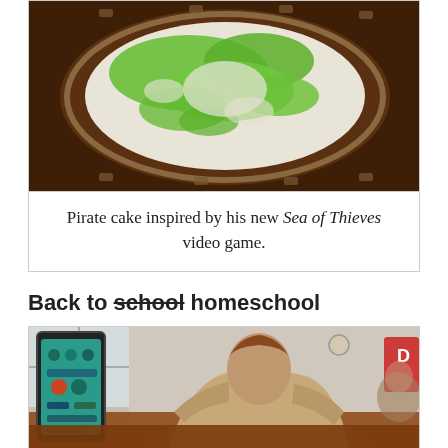[Figure (photo): Overhead view of a round pirate cake with green frosting world map design on white/cream background, sitting in a plastic container on a wooden table.]
Pirate cake inspired by his new Sea of Thieves video game.
Back to school homeschool
[Figure (photo): Child wrapped in a blanket sitting at a wooden table using a tablet device; a tablet screen showing educational app is visible on the left side.]